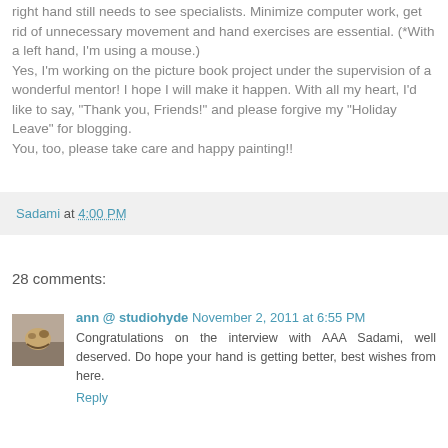right hand still needs to see specialists. Minimize computer work, get rid of unnecessary movement and hand exercises are essential. (*With a left hand, I'm using a mouse.) Yes, I'm working on the picture book project under the supervision of a wonderful mentor! I hope I will make it happen. With all my heart, I'd like to say, "Thank you, Friends!" and please forgive my "Holiday Leave" for blogging.
You, too, please take care and happy painting!!
Sadami at 4:00 PM
28 comments:
ann @ studiohyde November 2, 2011 at 6:55 PM
Congratulations on the interview with AAA Sadami, well deserved. Do hope your hand is getting better, best wishes from here.
Reply